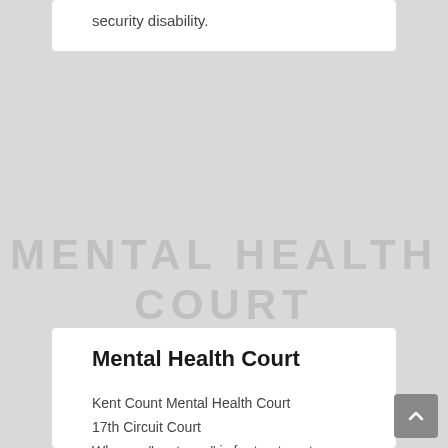security disability.
MENTAL HEALTH COURT
Mental Health Court
Kent Count Mental Health Court
17th Circuit Court
Where a "sentence" is for treatment: medications.